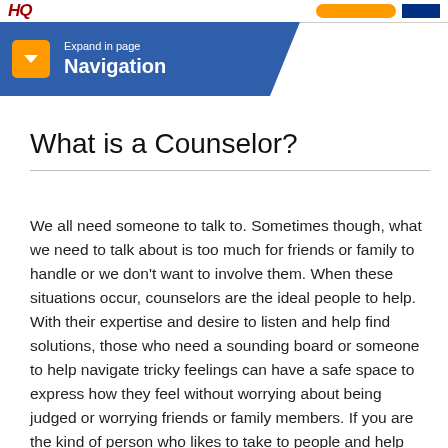Navigation
What is a Counselor?
We all need someone to talk to. Sometimes though, what we need to talk about is too much for friends or family to handle or we don’t want to involve them. When these situations occur, counselors are the ideal people to help. With their expertise and desire to listen and help find solutions, those who need a sounding board or someone to help navigate tricky feelings can have a safe space to express how they feel without worrying about being judged or worrying friends or family members. If you are the kind of person who likes to take to people and help them figure out issues causing them problems, then a career as a counselor might be ideal. The path to becoming a counselor is a long one but, in the end, when you’re helping people find solutions to their problems, the work will